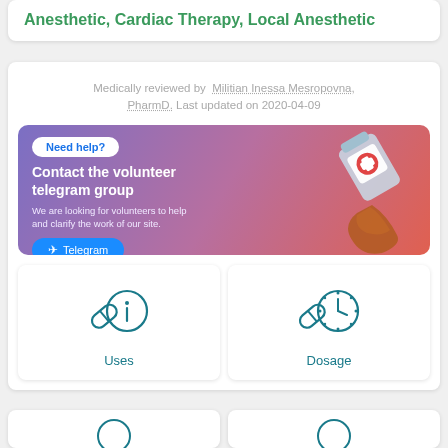Anesthetic, Cardiac Therapy, Local Anesthetic
Medically reviewed by Militian Inessa Mesropovna, PharmD. Last updated on 2020-04-09
[Figure (infographic): Banner ad with purple-to-red gradient background. Left side: 'Need help?' button in white pill shape with blue text, bold white text 'Contact the volunteer telegram group', smaller light text 'We are looking for volunteers to help and clarify the work of our site.', blue Telegram button. Right side: 3D illustration of a medicine bottle tipping over with liquid spilling out.]
[Figure (illustration): Uses icon: teal outline illustration of a pill/capsule overlapping with a circle containing a person (info) icon]
Uses
[Figure (illustration): Dosage icon: teal outline illustration of a pill/capsule overlapping with a clock/stopwatch circle icon with dots]
Dosage